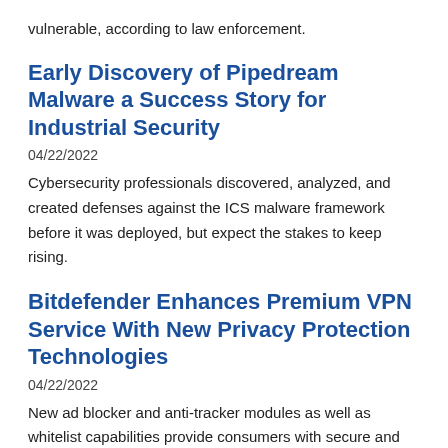vulnerable, according to law enforcement.
Early Discovery of Pipedream Malware a Success Story for Industrial Security
04/22/2022
Cybersecurity professionals discovered, analyzed, and created defenses against the ICS malware framework before it was deployed, but expect the stakes to keep rising.
Bitdefender Enhances Premium VPN Service With New Privacy Protection Technologies
04/22/2022
New ad blocker and anti-tracker modules as well as whitelist capabilities provide consumers with secure and